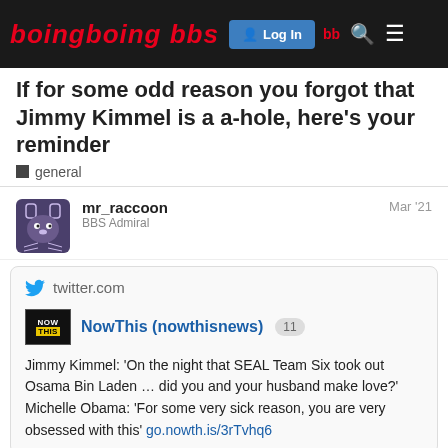Boing Boing BBS — Log In
If for some odd reason you forgot that Jimmy Kimmel is a a-hole, here's your reminder
general
mr_raccoon
BBS Admiral
Mar '21
twitter.com
NowThis (nowthisnews) 11
Jimmy Kimmel: 'On the night that SEAL Team Six took out Osama Bin Laden … did you and your husband make love?' Michelle Obama: 'For some very sick reason, you are very obsessed with this' go.nowth.is/3rTvhq6